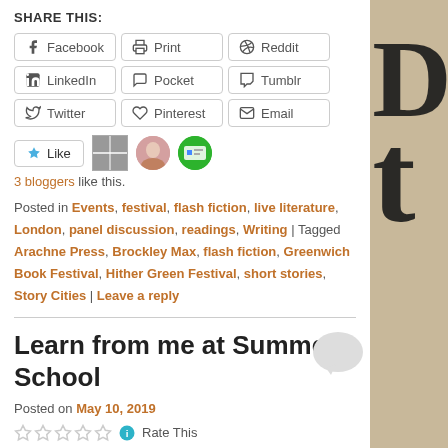SHARE THIS:
Facebook | Print | Reddit | LinkedIn | Pocket | Tumblr | Twitter | Pinterest | Email
Like | 3 bloggers like this.
Posted in Events, festival, flash fiction, live literature, London, panel discussion, readings, Writing | Tagged Arachne Press, Brockley Max, flash fiction, Greenwich Book Festival, Hither Green Festival, short stories, Story Cities | Leave a reply
Learn from me at Summer School
Posted on May 10, 2019
Rate This